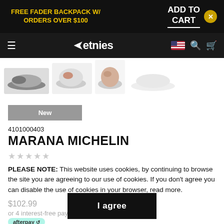FREE FADER BACKPACK W/ ORDERS OVER $100 | ADD TO CART
[Figure (screenshot): Etnies navigation bar with hamburger menu, etnies logo, US flag, search and cart icons]
[Figure (photo): Four shoe thumbnail images (top-down views) in white/grey background strip]
New
4101000403
MARANA MICHELIN
PLEASE NOTE: This website uses cookies, by continuing to browse the site you are agreeing to our use of cookies. If you don't agree you can disable the use of cookies in your browser, read more.
$102.99
or 4 interest-free pay .75 with afterpay
I agree